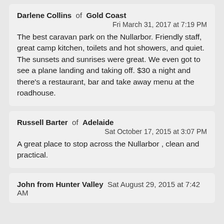Darlene Collins of Gold Coast
Fri March 31, 2017 at 7:19 PM
The best caravan park on the Nullarbor. Friendly staff, great camp kitchen, toilets and hot showers, and quiet. The sunsets and sunrises were great. We even got to see a plane landing and taking off. $30 a night and there's a restaurant, bar and take away menu at the roadhouse.
Russell Barter of Adelaide
Sat October 17, 2015 at 3:07 PM
A great place to stop across the Nullarbor , clean and practical.
John from Hunter Valley  Sat August 29, 2015 at 7:42 AM